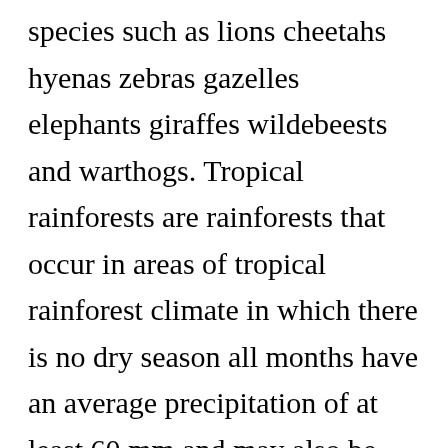species such as lions cheetahs hyenas zebras gazelles elephants giraffes wildebeests and warthogs. Tropical rainforests are rainforests that occur in areas of tropical rainforest climate in which there is no dry season all months have an average precipitation of at least 60 mm and may also be referred to as lowland equatorial evergreen rainforestTrue rainforests are typically found between 10 degrees north and south of the equator see map. Seventy percent [X] f the plants in the